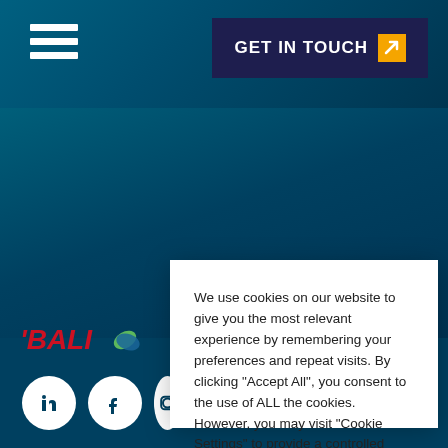[Figure (screenshot): Website header with dark blue background, hamburger menu icon on the left, and 'GET IN TOUCH' button with orange arrow on the right]
[Figure (logo): Partial logo showing 'BALI' text in red italic with green/blue circular icon]
We use cookies on our website to give you the most relevant experience by remembering your preferences and repeat visits. By clicking "Accept All", you consent to the use of ALL the cookies. However, you may visit "Cookie Settings" to provide a controlled consent.
[Figure (other): Cookie Settings and Accept All buttons]
[Figure (other): LinkedIn and Facebook social media icon circles in white on dark blue footer]